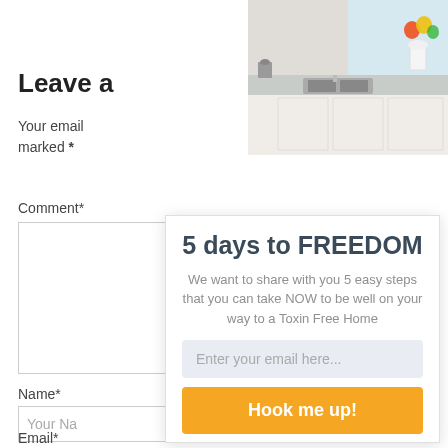[Figure (photo): Kitchen with white cabinets, countertops, double sink, and flowers in a white vase by the window]
Leave a
Your email
marked *
Comment*
Name*
Your Na
Email*
5 days to FREEDOM
We want to share with you 5 easy steps that you can take NOW to be well on your way to a Toxin Free Home
Enter your email here...
Hook me up!